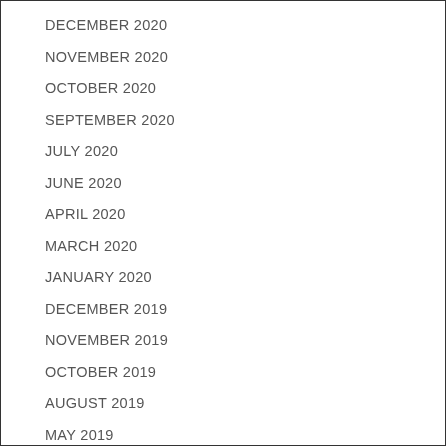DECEMBER 2020
NOVEMBER 2020
OCTOBER 2020
SEPTEMBER 2020
JULY 2020
JUNE 2020
APRIL 2020
MARCH 2020
JANUARY 2020
DECEMBER 2019
NOVEMBER 2019
OCTOBER 2019
AUGUST 2019
MAY 2019
APRIL 2019
MARCH 2019